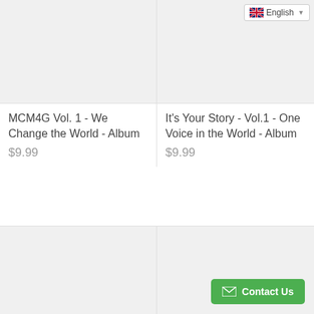[Figure (screenshot): Language selector dropdown showing English with UK flag]
[Figure (photo): Light gray placeholder image for MCM4G Vol. 1 album]
[Figure (photo): Light gray placeholder image for It's Your Story Vol. 1 album]
MCM4G Vol. 1 - We Change the World - Album
$9.99
It's Your Story - Vol.1 - One Voice in the World - Album
$9.99
[Figure (photo): Light gray placeholder image bottom left]
[Figure (photo): Light gray placeholder image bottom right]
Contact Us